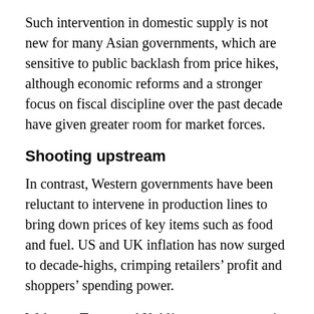Such intervention in domestic supply is not new for many Asian governments, which are sensitive to public backlash from price hikes, although economic reforms and a stronger focus on fiscal discipline over the past decade have given greater room for market forces.
Shooting upstream
In contrast, Western governments have been reluctant to intervene in production lines to bring down prices of key items such as food and fuel. US and UK inflation has now surged to decade-highs, crimping retailers’ profit and shoppers’ spending power.
Walmart, Target and Kohl’s were among major US retailers that reported earnings this month that missed Wall Street expectations by the